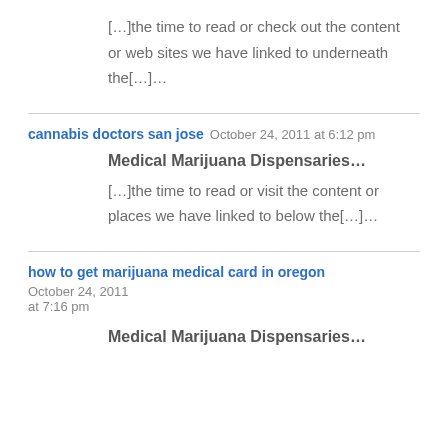[…]the time to read or check out the content or web sites we have linked to underneath the[…]…
cannabis doctors san jose   October 24, 2011 at 6:12 pm
Medical Marijuana Dispensaries…
[…]the time to read or visit the content or places we have linked to below the[…]…
how to get marijuana medical card in oregon   October 24, 2011 at 7:16 pm
Medical Marijuana Dispensaries…